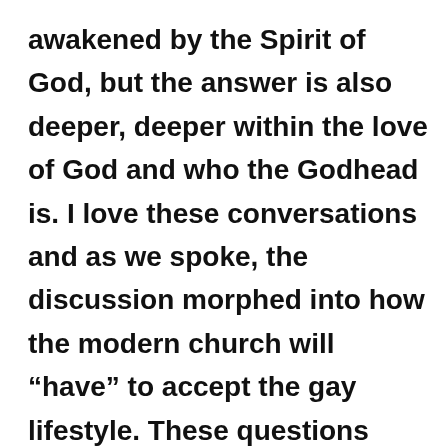awakened by the Spirit of God, but the answer is also deeper, deeper within the love of God and who the Godhead is. I love these conversations and as we spoke, the discussion morphed into how the modern church will “have” to accept the gay lifestyle. These questions don’t baffle me, nor did they mystify the early church.